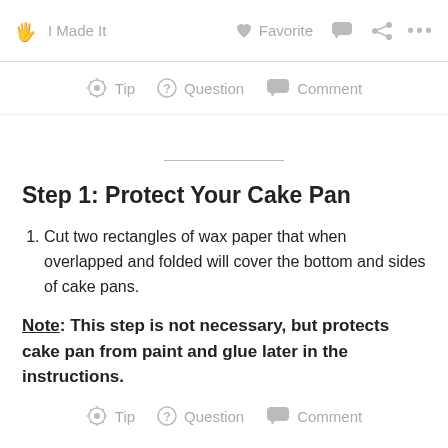I Made It   Favorite   ...
Tip   Question   Comment
Step 1: Protect Your Cake Pan
Cut two rectangles of wax paper that when overlapped and folded will cover the bottom and sides of cake pans.
Note: This step is not necessary, but protects cake pan from paint and glue later in the instructions.
Tip   Question   Comment